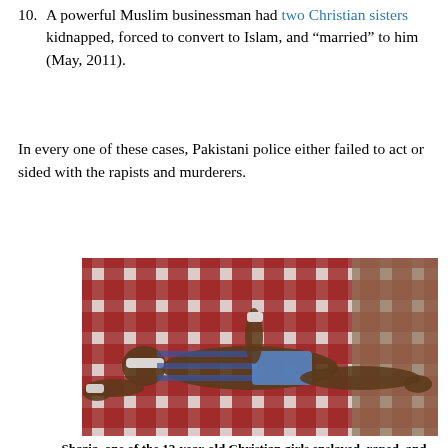10. A powerful Muslim businessman had two Christian sisters kidnapped, forced to convert to Islam, and “married” to him (May, 2011).
In every one of these cases, Pakistani police either failed to act or sided with the rapists and murderers.
[Figure (photo): A young girl lying on a patterned red and white checkered surface, wearing a striped top and blue shorts, with bandages on her wrists.]
Shazia, one of the 12-year-old Christian girls enslaved, raped, and murdered by a Pakistani Muslim who wasn’t even convicted.